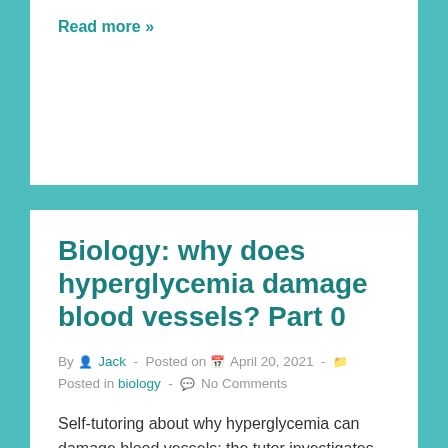Read more »
Biology: why does hyperglycemia damage blood vessels? Part 0
By  Jack  -  Posted on  April 20, 2021  -  Posted in biology  -  No Comments
Self-tutoring about why hyperglycemia can damage blood vessels: the tutor investigates. Hyperglycemia, which means elevated blood sugar, has long been known to cause damage to blood vessels, but how? A top down explanation